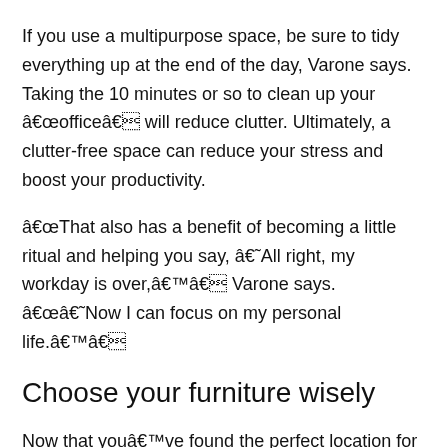If you use a multipurpose space, be sure to tidy everything up at the end of the day, Varone says. Taking the 10 minutes or so to clean up your â€œofficeâ€ will reduce clutter. Ultimately, a clutter-free space can reduce your stress and boost your productivity.
â€œThat also has a benefit of becoming a little ritual and helping you say, â€˜All right, my workday is over,â€™â€ Varone says. â€œâ€˜Now I can focus on my personal life.â€™â€
Choose your furniture wisely
Now that youâ€™ve found the perfect location for your home office on a budget, focus on finding the perfect work surface. Maybe itâ€™s a traditional desk. Or it could be your dining room table or kitchen counter.